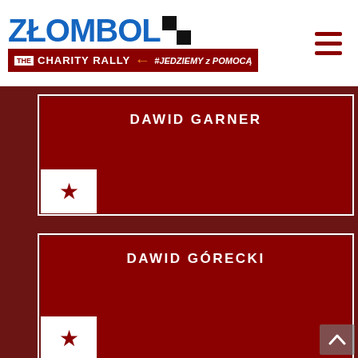[Figure (logo): Złombol The Charity Rally logo with blue text, dark red subtitle bar, orange arrow, and hashtag #JedzimyzPomocą]
DAWID GARNER
DAWID GÓRECKI
DAWID SZCZYPKOWSKI